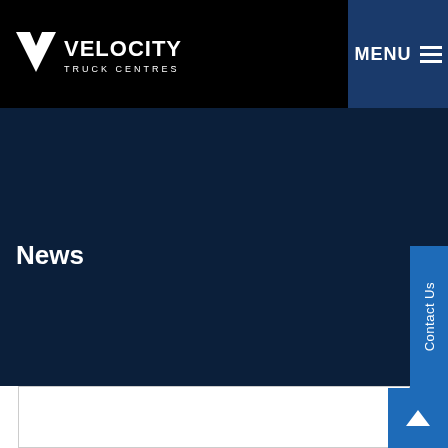VELOCITY TRUCK CENTRES — MENU
News
Contact Us
[Figure (screenshot): White content card area with border, partially visible at bottom of page]
[Figure (other): Scroll to top button (blue square with upward arrow)]